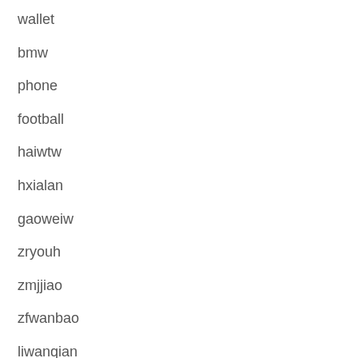wallet
bmw
phone
football
haiwtw
hxialan
gaoweiw
zryouh
zmjjiao
zfwanbao
liwanqian
wqsifz